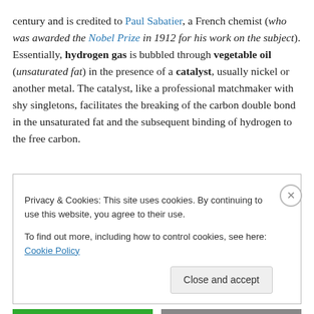century and is credited to Paul Sabatier, a French chemist (who was awarded the Nobel Prize in 1912 for his work on the subject). Essentially, hydrogen gas is bubbled through vegetable oil (unsaturated fat) in the presence of a catalyst, usually nickel or another metal. The catalyst, like a professional matchmaker with shy singletons, facilitates the breaking of the carbon double bond in the unsaturated fat and the subsequent binding of hydrogen to the free carbon.
Privacy & Cookies: This site uses cookies. By continuing to use this website, you agree to their use. To find out more, including how to control cookies, see here: Cookie Policy